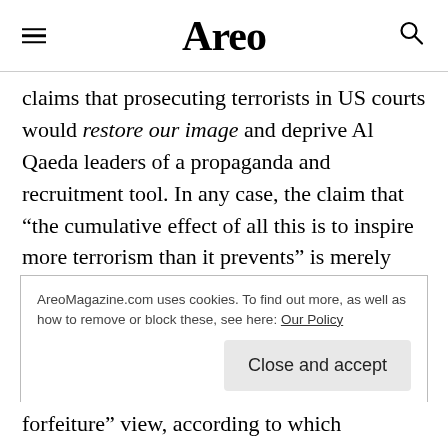Areo
claims that prosecuting terrorists in US courts would restore our image and deprive Al Qaeda leaders of a propaganda and recruitment tool. In any case, the claim that “the cumulative effect of all this is to inspire more terrorism than it prevents” is merely hypothetical. A perusal of Al Qaeda propaganda reveals that Guantanamo was not their number one recruiting tool: “Instead, al Qaeda’s leaders repeatedly focus on a narrative that has dominated their propaganda for the better part of two decades”—namely that “there is a
AreoMagazine.com uses cookies. To find out more, as well as how to remove or block these, see here: Our Policy
forfeiture” view, according to which “innocent people